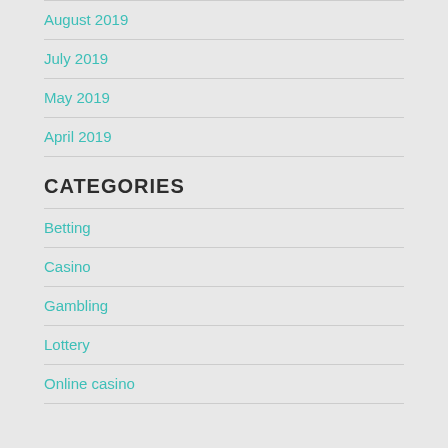August 2019
July 2019
May 2019
April 2019
CATEGORIES
Betting
Casino
Gambling
Lottery
Online casino